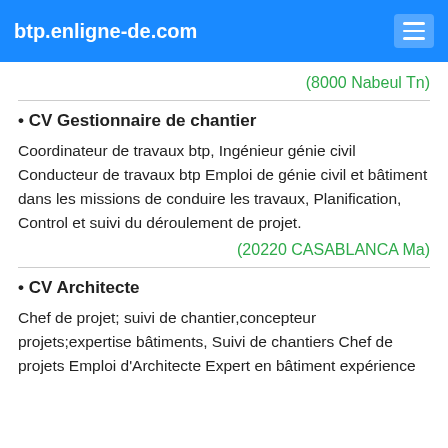btp.enligne-de.com
(8000 Nabeul Tn)
• CV Gestionnaire de chantier
Coordinateur de travaux btp, Ingénieur génie civil Conducteur de travaux btp Emploi de génie civil et bâtiment dans les missions de conduire les travaux, Planification, Control et suivi du déroulement de projet.
(20220 CASABLANCA Ma)
• CV Architecte
Chef de projet; suivi de chantier,concepteur projets;expertise bâtiments, Suivi de chantiers Chef de projets Emploi d'Architecte Expert en bâtiment expérience